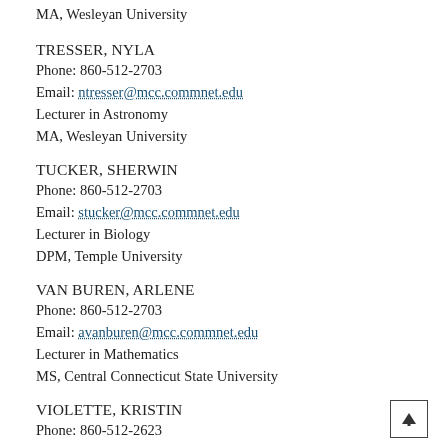MA, Wesleyan University
TRESSER, NYLA
Phone: 860-512-2703
Email: ntresser@mcc.commnet.edu
Lecturer in Astronomy
MA, Wesleyan University
TUCKER, SHERWIN
Phone: 860-512-2703
Email: stucker@mcc.commnet.edu
Lecturer in Biology
DPM, Temple University
VAN BUREN, ARLENE
Phone: 860-512-2703
Email: avanburen@mcc.commnet.edu
Lecturer in Mathematics
MS, Central Connecticut State University
VIOLETTE, KRISTIN
Phone: 860-512-2623